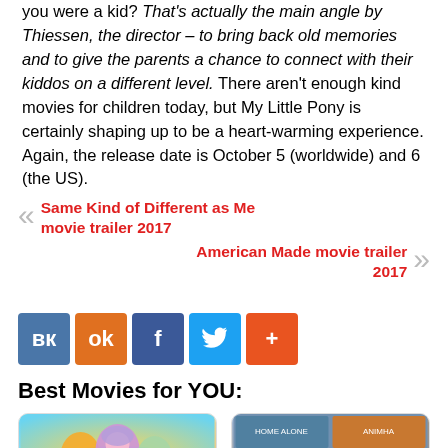you were a kid? That's actually the main angle by Thiessen, the director – to bring back old memories and to give the parents a chance to connect with their kiddos on a different level. There aren't enough kind movies for children today, but My Little Pony is certainly shaping up to be a heart-warming experience. Again, the release date is October 5 (worldwide) and 6 (the US).
« Same Kind of Different as Me movie trailer 2017
American Made movie trailer 2017 »
[Figure (infographic): Social sharing buttons: VK (blue), OK (orange), Facebook (blue), Twitter (light blue), More/Plus (orange-red)]
Best Movies for YOU:
[Figure (photo): Card thumbnail: When does My Little Pony... - shows colorful pony characters]
[Figure (photo): Card thumbnail: List of TOP 1 best... - shows movie collage grid]